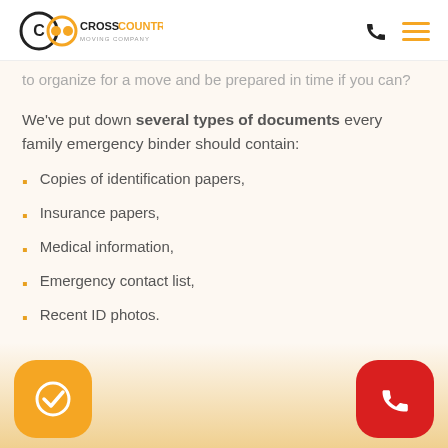CrossCountry Moving Company
to organize for a move and be prepared in time if you can?
We've put down several types of documents every family emergency binder should contain:
Copies of identification papers,
Insurance papers,
Medical information,
Emergency contact list,
Recent ID photos.